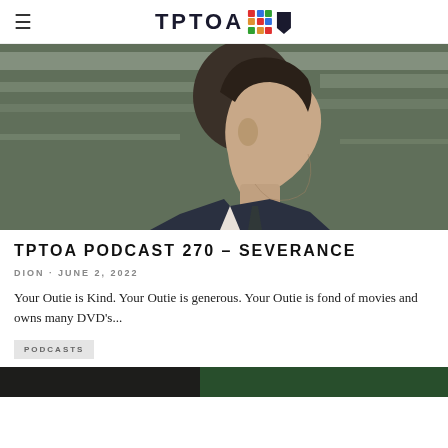≡  TPTOA
[Figure (photo): Man in a dark suit and tie, side profile, green-tinted office ceiling in background — still from the TV show Severance]
TPTOA PODCAST 270 – SEVERANCE
DION · JUNE 2, 2022
Your Outie is Kind. Your Outie is generous. Your Outie is fond of movies and owns many DVD's...
PODCASTS
[Figure (photo): Partial view of another article thumbnail at the bottom of the page]